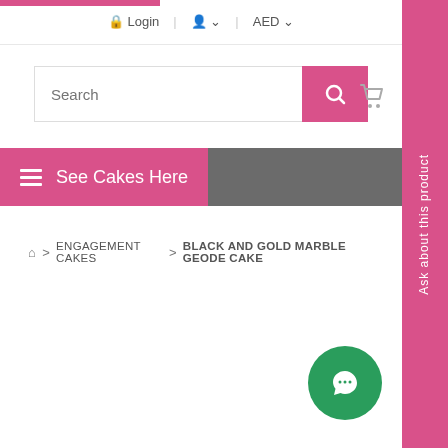Login | AED
[Figure (screenshot): Search input bar with pink search button]
See Cakes Here
Home > ENGAGEMENT CAKES > BLACK AND GOLD MARBLE GEODE CAKE
[Figure (other): Green circular chat button with speech bubble icon]
Ask about this product